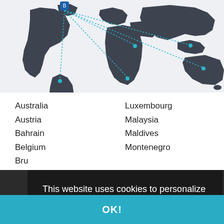[Figure (map): World map in dark gray showing dotted teal/cyan lines connecting locations across continents, with a location marker icon near Western Europe/North America. Lines connect to South America, Middle East/Africa, and Australia regions.]
Australia
Austria
Bahrain
Belgium
Bru[nei]
Bul[garia]
Ca[nada]
Cro[atia]
Cze[ch Republic]
De[nmark]
Luxembourg
Malaysia
Maldives
Montenegro
This website uses cookies to personalize content and to improve your browsing experience. Learn more
OK!